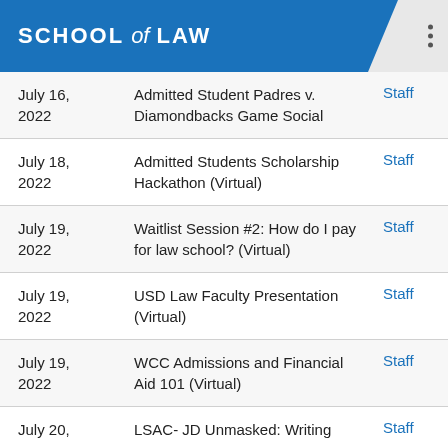SCHOOL of LAW
| Date | Event |  |
| --- | --- | --- |
| July 16, 2022 | Admitted Student Padres v. Diamondbacks Game Social | Staff |
| July 18, 2022 | Admitted Students Scholarship Hackathon (Virtual) | Staff |
| July 19, 2022 | Waitlist Session #2: How do I pay for law school? (Virtual) | Staff |
| July 19, 2022 | USD Law Faculty Presentation (Virtual) | Staff |
| July 19, 2022 | WCC Admissions and Financial Aid 101 (Virtual) | Staff |
| July 20, | LSAC- JD Unmasked: Writing | Staff |